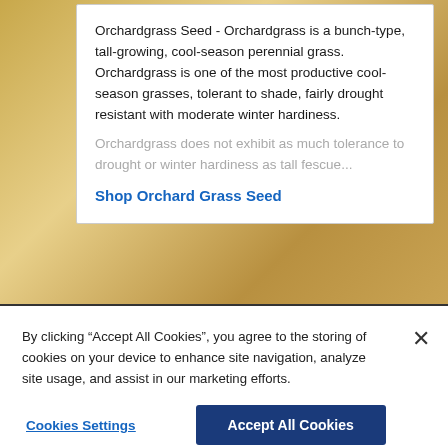Orchardgrass Seed - Orchardgrass is a bunch-type, tall-growing, cool-season perennial grass. Orchardgrass is one of the most productive cool-season grasses, tolerant to shade, fairly drought resistant with moderate winter hardiness.
Orchardgrass does not exhibit as much tolerance to drought or winter hardiness as tall fescue...
Shop Orchard Grass Seed
[Figure (logo): Hancock Seed Company logo with combine harvester illustration and bold HANCOCK SEED COMPANY text]
By clicking “Accept All Cookies”, you agree to the storing of cookies on your device to enhance site navigation, analyze site usage, and assist in our marketing efforts.
Cookies Settings
Accept All Cookies